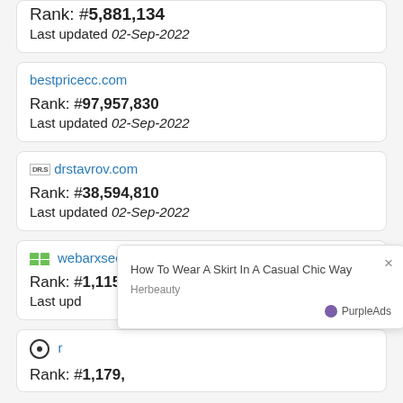Rank: #5,881,134
Last updated 02-Sep-2022
bestpricecc.com
Rank: #97,957,830
Last updated 02-Sep-2022
drstavrov.com
Rank: #38,594,810
Last updated 02-Sep-2022
webarxsecurity.com
Rank: #1,115,319
Last updated 02-Sep-2022
Rank: #1,179,000
[Figure (screenshot): Ad overlay: 'How To Wear A Skirt In A Casual Chic Way' by Herbeauty, with PurpleAds branding and close button]